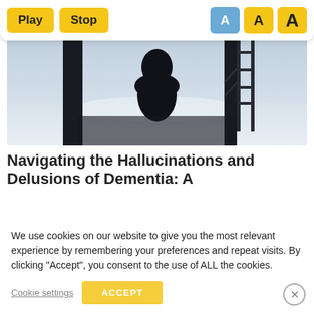[Figure (screenshot): Website toolbar with Play and Stop yellow buttons and three font-size A buttons (one blue, two yellow)]
[Figure (photo): Silhouette of a person in a hoodie sitting and looking out through a dark frame at a snowy/misty scene]
Navigating the Hallucinations and Delusions of Dementia: A
We use cookies on our website to give you the most relevant experience by remembering your preferences and repeat visits. By clicking “Accept”, you consent to the use of ALL the cookies.
Cookie settings   ACCEPT